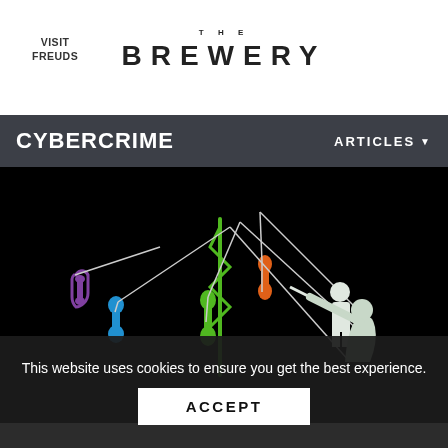VISIT FREUDS
THE BREWERY
CYBERCRIME
ARTICLES
[Figure (illustration): Black background illustration showing silhouettes of fishermen using fishing rods as a metaphor for phishing/cybercrime, with colorful telephone handsets (purple, blue, green, orange) hanging from lines as lures.]
This website uses cookies to ensure you get the best experience.
ACCEPT